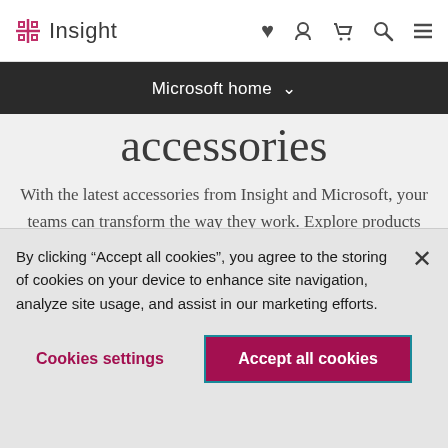[Figure (logo): Insight company logo with pink crosshair icon and 'Insight' text]
[Figure (screenshot): Navigation bar with user, cart, search, and menu icons]
Microsoft home
accessories
With the latest accessories from Insight and Microsoft, your teams can transform the way they work. Explore products built to
By clicking “Accept all cookies”, you agree to the storing of cookies on your device to enhance site navigation, analyze site usage, and assist in our marketing efforts.
Cookies settings
Accept all cookies